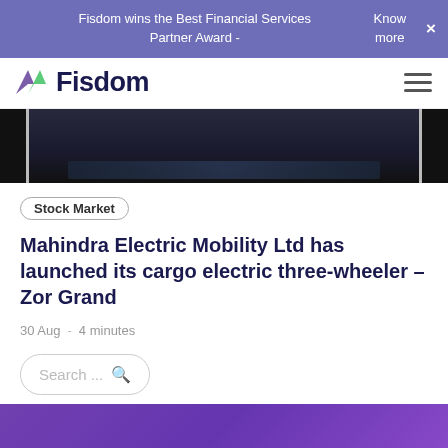Fisdom wins the Best Financial Services Partner Award - Know more ×
[Figure (logo): Fisdom logo with purple and green icon and dark navy bold text]
[Figure (photo): Dark image showing electronic/tech equipment, partially visible]
Stock Market
Mahindra Electric Mobility Ltd has launched its cargo electric three-wheeler – Zor Grand
30 Aug  -  4 minutes
Search ...